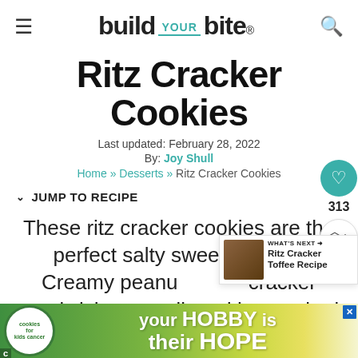build YOUR bite®
Ritz Cracker Cookies
Last updated: February 28, 2022
By: Joy Shull
Home » Desserts » Ritz Cracker Cookies
↓ JUMP TO RECIPE
313
These ritz cracker cookies are the perfect salty sweet dessert. Creamy peanut butter cracker sandwiches are dipped into melted chocolate and sprinkled with sea salt. The
[Figure (screenshot): WHAT'S NEXT card showing Ritz Cracker Toffee Recipe with thumbnail]
[Figure (photo): Advertisement banner: cookies for kids cancer - your HOBBY is their HOPE]